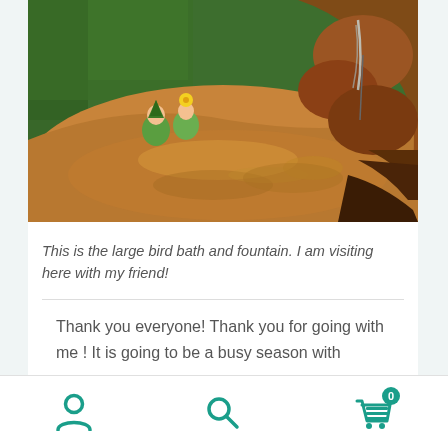[Figure (photo): A large bird bath and fountain made of carved wood/stone, with small gnome figurines sitting on the rim, water flowing, surrounded by green plants]
This is the large bird bath and fountain. I am visiting here with my friend!
Thank you everyone! Thank you for going with me ! It is going to be a busy season with
Navigation bar with user icon, search icon, and cart icon with badge 0